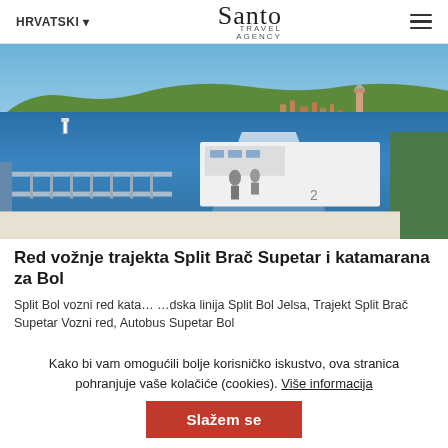HRVATSKI ▾   Santo Travel Agency   ☰
[Figure (photo): View from the back of a ferry crossing the Adriatic Sea toward a Croatian coastal town (Supetar, Brač island), showing the ship's deck railing, the white foamy wake, and green hills with red-roofed buildings in the background under a blue sky.]
Red vožnje trajekta Split Brač Supetar i katamarana za Bol
Split Bol vozni red kata... ...dska linija Split Bol Jelsa, Trajekt Split Brač Supetar Vozni red, Autobus Supetar Bol
Kako bi vam omogućili bolje korisničko iskustvo, ova stranica pohranjuje vaše kolačiće (cookies). Više informacija
Slažem se